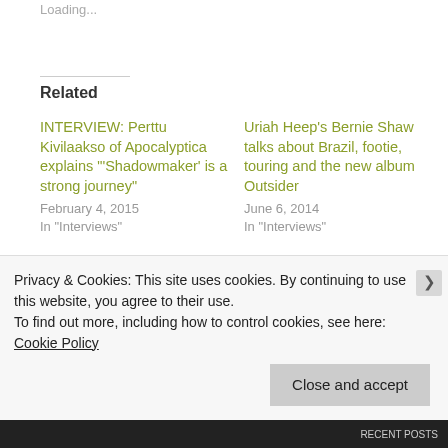Loading...
Related
INTERVIEW: Perttu Kivilaakso of Apocalyptica explains "'Shadowmaker' is a strong journey"
February 4, 2015
In "Interviews"
Uriah Heep's Bernie Shaw talks about Brazil, footie, touring and the new album Outsider
June 6, 2014
In "Interviews"
INTERVIEW:
@Magnumonline
Privacy & Cookies: This site uses cookies. By continuing to use this website, you agree to their use. To find out more, including how to control cookies, see here: Cookie Policy
Close and accept